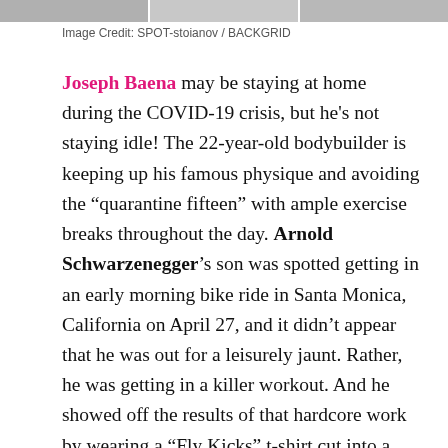[Figure (photo): Three partially visible photo thumbnails in a strip at the top of the page]
Image Credit: SPOT-stoianov / BACKGRID
Joseph Baena may be staying at home during the COVID-19 crisis, but he's not staying idle! The 22-year-old bodybuilder is keeping up his famous physique and avoiding the “quarantine fifteen” with ample exercise breaks throughout the day. Arnold Schwarzenegger’s son was spotted getting in an early morning bike ride in Santa Monica, California on April 27, and it didn’t appear that he was out for a leisurely jaunt. Rather, he was getting in a killer workout. And he showed off the results of that hardcore work by wearing a “Fly Kicks” t-shirt cut into a tank top, and a pair of awfully short shorts.